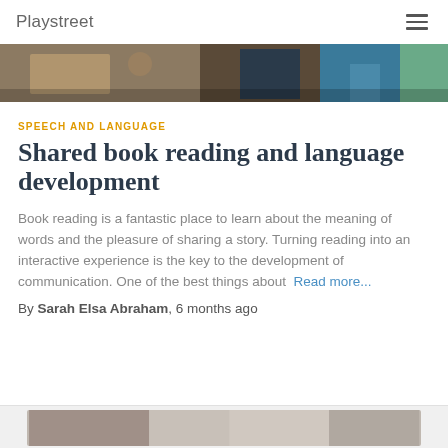Playstreet
[Figure (photo): Partial photo of children or people, cropped showing legs and a child in blue near wooden furniture]
SPEECH AND LANGUAGE
Shared book reading and language development
Book reading is a fantastic place to learn about the meaning of words and the pleasure of sharing a story. Turning reading into an interactive experience is the key to the development of communication. One of the best things about  Read more...
By Sarah Elsa Abraham, 6 months ago
[Figure (photo): Partial view of another article image at the bottom of the page]